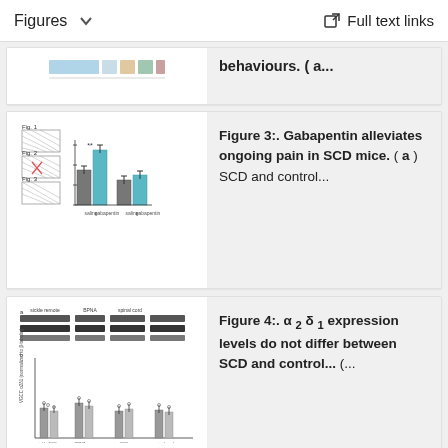Figures   Full text links
behaviours. ( a...
Figure 3:. Gabapentin alleviates ongoing pain in SCD mice. ( a ) SCD and control...
[Figure (other): Thumbnail of Figure 3 showing bar charts and grid figures related to SCD mice pain behavior study]
Figure 4:. α 2 δ 1 expression levels do not differ between SCD and control... (...
[Figure (other): Thumbnail of Figure 4 showing western blot bands and bar charts for α2δ1 expression levels]